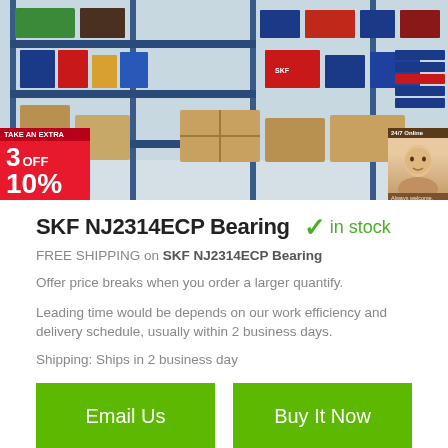[Figure (photo): Warehouse shelves with stacked boxes and bearing product packages, including blue and red/white branded boxes on metal shelving units.]
SKF NJ2314ECP Bearing ✓ in stock
FREE SHIPPING on SKF NJ2314ECP Bearing
Offer price breaks when you order a larger quantify.
Leading time would be depends on our work efficiency and delivery schedule, usually within 2 business days.
Shipping: Ships in 2 business day
Email Us
Buy It Now
1) Quality Assurance: Official Authorized For 100% Guaranteed As Described